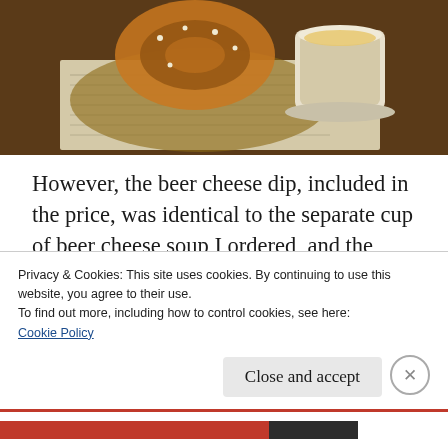[Figure (photo): Photo of a soft pretzel served in a basket on newspaper lining, with a white cup of beer cheese dip/soup on the side, on a dark wooden table.]
However, the beer cheese dip, included in the price, was identical to the separate cup of beer cheese soup I ordered, and the same size, too. Could our server have warned me that if I wanted to try the soup, I'd get a cup with the pretzel, to save me $4?  Sure, she could have, and it would have been appreciated.  And $4
Privacy & Cookies: This site uses cookies. By continuing to use this website, you agree to their use.
To find out more, including how to control cookies, see here:
Cookie Policy
Close and accept